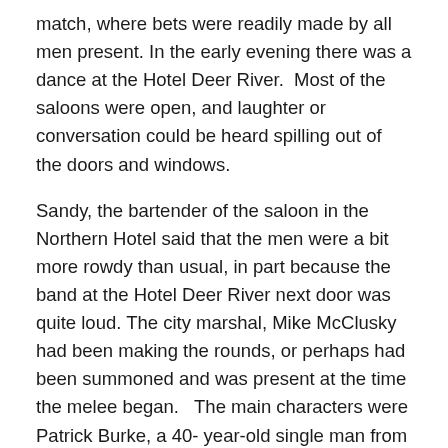match, where bets were readily made by all men present. In the early evening there was a dance at the Hotel Deer River.  Most of the saloons were open, and laughter or conversation could be heard spilling out of the doors and windows.
Sandy, the bartender of the saloon in the Northern Hotel said that the men were a bit more rowdy than usual, in part because the band at the Hotel Deer River next door was quite loud. The city marshal, Mike McClusky had been making the rounds, or perhaps had been summoned and was present at the time the melee began.   The main characters were Patrick Burke, a 40- year-old single man from Grand Rapids; and recently married 35-year-old Charley Grant.  Both men were known in the Deer River community and neither had a honorable past..  Burke had been in prison for manslaughter and Grant had just gotten off parole following a sentence at the Stillwater Prison for